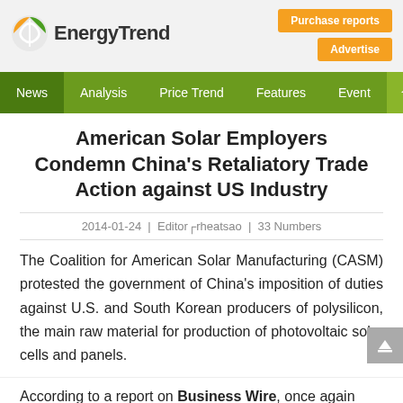EnergyTrend
Purchase reports
Advertise
News | Analysis | Price Trend | Features | Event | Home
American Solar Employers Condemn China's Retaliatory Trade Action against US Industry
2014-01-24 | Editor┌rheatsao | 33 Numbers
The Coalition for American Solar Manufacturing (CASM) protested the government of China's imposition of duties against U.S. and South Korean producers of polysilicon, the main raw material for production of photovoltaic solar cells and panels.
According to a report on Business Wire, once again